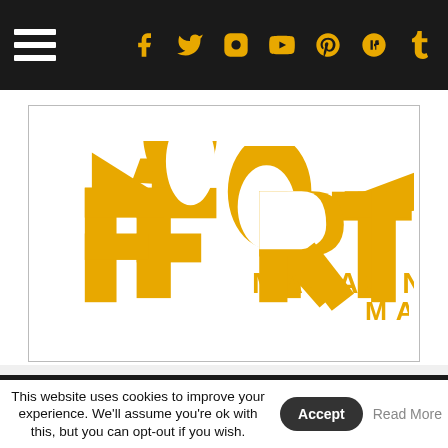Navigation bar with hamburger menu and social icons
[Figure (logo): Fortitude Magazine logo in orange/gold on white background, with stylized F and wing design]
This website uses cookies to improve your experience. We'll assume you're ok with this, but you can opt-out if you wish. Accept Read More